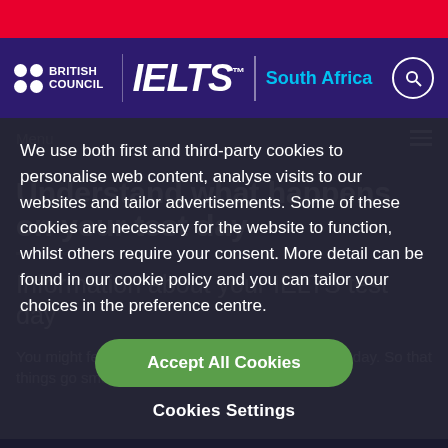British Council IELTS South Africa
Menu
Understand what happens on your test day
Information about your IELTS test day
You might feel a bit nervous about your IELTS test day. So that things go smoothly as possible for you, we've out
We use both first and third-party cookies to personalise web content, analyse visits to our websites and tailor advertisements. Some of these cookies are necessary for the website to function, whilst others require your consent. More detail can be found in our cookie policy and you can tailor your choices in the preference centre.
Accept All Cookies
Cookies Settings